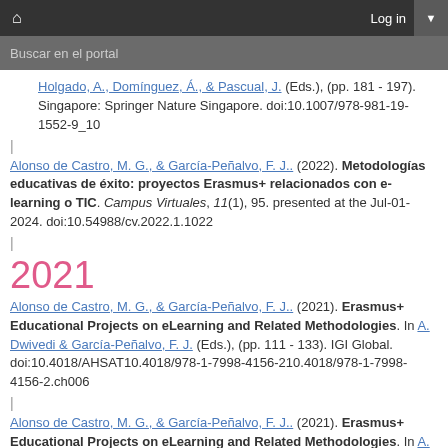🏠   Log in  ▼
Buscar en el portal
Holgado, A., Domínguez, Á., & Pascual, J. (Eds.), (pp. 181 - 197). Singapore: Springer Nature Singapore. doi:10.1007/978-981-19-1552-9_10
|
Alonso de Castro, M. G., & García-Peñalvo, F. J.. (2022). Metodologías educativas de éxito: proyectos Erasmus+ relacionados con e-learning o TIC. Campus Virtuales, 11(1), 95. presented at the Jul-01-2024. doi:10.54988/cv.2022.1.1022
|
2021
Alonso de Castro, M. G., & García-Peñalvo, F. J.. (2021). Erasmus+ Educational Projects on eLearning and Related Methodologies. In A. Dwivedi & García-Peñalvo, F. J. (Eds.), (pp. 111 - 133). IGI Global. doi:10.4018/AHSAT10.4018/978-1-7998-4156-210.4018/978-1-7998-4156-2.ch006
|
Alonso de Castro, M. G., & García-Peñalvo, F. J.. (2021). Erasmus+ Educational Projects on eLearning and Related Methodologies. In A. Dwivedi & García-Peñalvo, F. J. (Eds.), (pp. 111 - 133). IGI